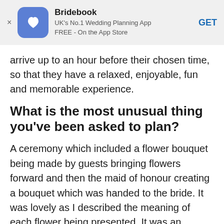[Figure (other): Bridebook app banner with logo, app name, description, and GET button]
arrive up to an hour before their chosen time, so that they have a relaxed, enjoyable, fun and memorable experience.
What is the most unusual thing you've been asked to plan?
A ceremony which included a flower bouquet being made by guests bringing flowers forward and then the maid of honour creating a bouquet which was handed to the bride. It was lovely as I described the meaning of each flower being presented. It was an awesome and unique idea.
How do you ensure a stress-free wedding?
B…